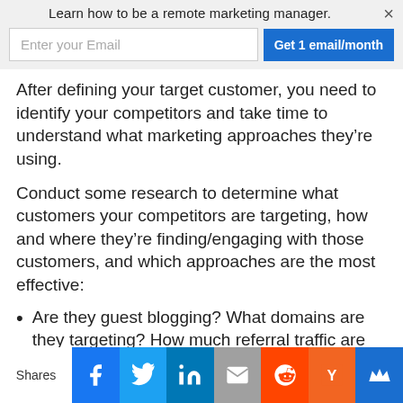Learn how to be a remote marketing manager.
After defining your target customer, you need to identify your competitors and take time to understand what marketing approaches they’re using.
Conduct some research to determine what customers your competitors are targeting, how and where they’re finding/engaging with those customers, and which approaches are the most effective:
Are they guest blogging? What domains are they targeting? How much referral traffic are they getting, and how many times are their content being shared...